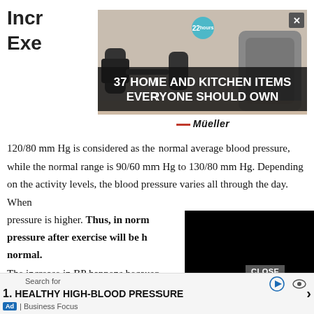Increase in Blood Pressure After Exercise
[Figure (screenshot): Advertisement banner: '37 HOME AND KITCHEN ITEMS EVERYONE SHOULD OWN' with Mueller brand, showing kitchen utensils, with '22' badge and X close button]
120/80 mm Hg is considered as the normal average blood pressure, while the normal range is 90/60 mm Hg to 130/80 mm Hg. Depending on the activity levels, the blood pressure varies all through the day. When [obscured] pressure is higher. Thus, in norm[al circumstances] pressure after exercise will be h[igher than] normal.
[Figure (screenshot): Black video player overlay covering right portion of text]
The increase in BP happens because there is an increase in the demand of oxygen by the muscles. To ensure this, the heart beats with more force so that more blood [is pumped] out. As [the exercise intensifies, the blood] pressure [increases].
[Figure (screenshot): Bottom advertisement bar: Search for '1. HEALTHY HIGH-BLOOD PRESSURE' by Business Focus with CLOSE button]